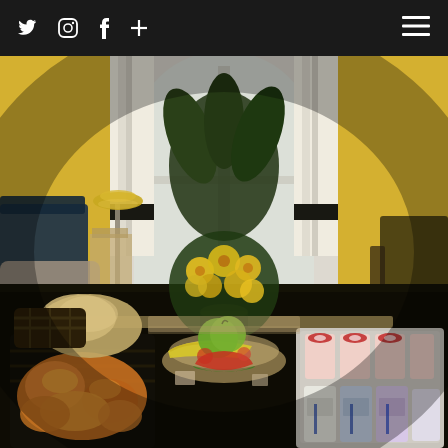[Figure (photo): Website screenshot showing a navigation bar at top with social media icons (Twitter, Instagram, Facebook, plus sign) on the left and a hamburger menu icon on the right, against a dark/black background. Below is a large photograph of an elegant hotel room or upscale apartment interior with yellow walls, white curtains with black trim bands, a large arched window with soft natural light, a floor lamp on the left, blue armchair, a coffee table in the foreground laden with a breakfast spread including pastries in a dark wicker tray, a decorative fruit bowl with bananas, green apple, and watermelon, dessert cups with red berry toppings, and various yogurt cups on a silver tray on the right. A large yellow flower bouquet arrangement is prominently centered on the table with green foliage and a background plant visible behind.]